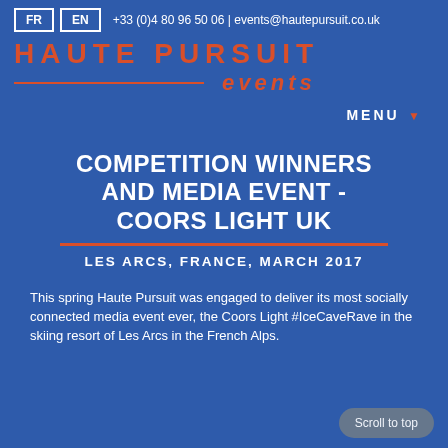FR | EN | +33 (0)4 80 96 50 06 | events@hautepursuit.co.uk
HAUTE PURSUIT events
MENU ▼
COMPETITION WINNERS AND MEDIA EVENT - COORS LIGHT UK
LES ARCS, FRANCE, MARCH 2017
This spring Haute Pursuit was engaged to deliver its most socially connected media event ever, the Coors Light #IceCaveRave in the skiing resort of Les Arcs in the French Alps.